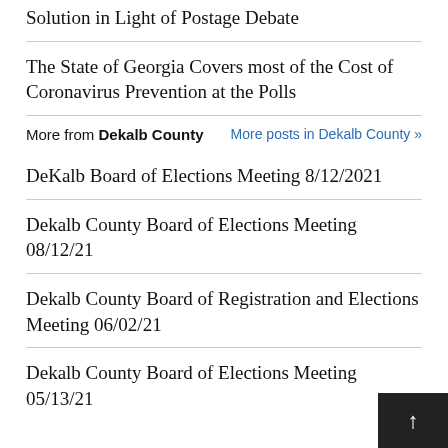Solution in Light of Postage Debate
The State of Georgia Covers most of the Cost of Coronavirus Prevention at the Polls
More from Dekalb County
DeKalb Board of Elections Meeting 8/12/2021
Dekalb County Board of Elections Meeting 08/12/21
Dekalb County Board of Registration and Elections Meeting 06/02/21
Dekalb County Board of Elections Meeting 05/13/21